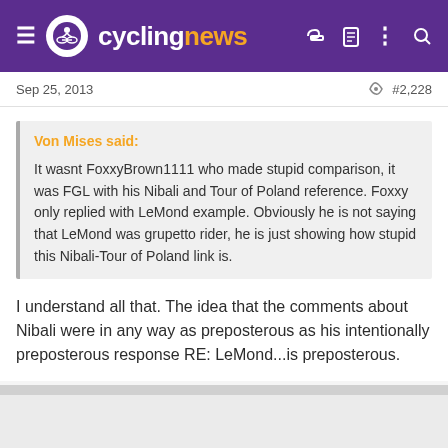cyclingnews
Sep 25, 2013  #2,228
Von Mises said:

It wasnt FoxxyBrown1111 who made stupid comparison, it was FGL with his Nibali and Tour of Poland reference. Foxxy only replied with LeMond example. Obviously he is not saying that LeMond was grupetto rider, he is just showing how stupid this Nibali-Tour of Poland link is.
I understand all that. The idea that the comments about Nibali were in any way as preposterous as his intentionally preposterous response RE: LeMond...is preposterous.